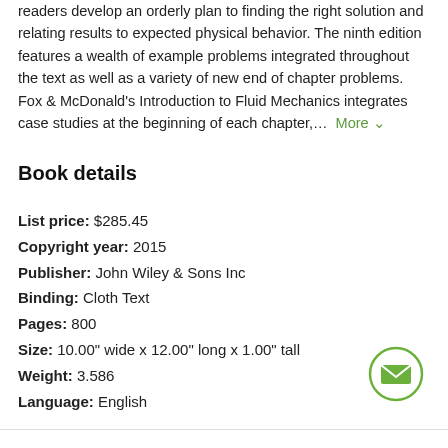readers develop an orderly plan to finding the right solution and relating results to expected physical behavior. The ninth edition features a wealth of example problems integrated throughout the text as well as a variety of new end of chapter problems.   Fox & McDonald's Introduction to Fluid Mechanics integrates case studies at the beginning of each chapter,...  More
Book details
List price: $285.45
Copyright year: 2015
Publisher: John Wiley & Sons Inc
Binding: Cloth Text
Pages: 800
Size: 10.00" wide x 12.00" long x 1.00" tall
Weight: 3.586
Language: English
[Figure (illustration): Green circular email/envelope icon button in bottom right area]